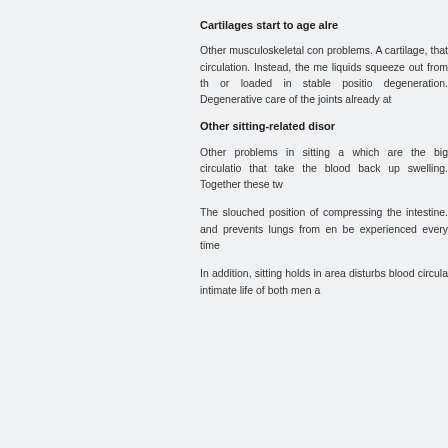Cartilages start to age alre
Other musculoskeletal con problems. A cartilage, that circulation. Instead, the me liquids squeeze out from th or loaded in stable positio degeneration. Degenerative care of the joints already at
Other sitting-related disor
Other problems in sitting a which are the big circulatio that take the blood back up swelling. Together these tw
The slouched position of compressing the intestine. and prevents lungs from en be experienced every time
In addition, sitting holds in area disturbs blood circula intimate life of both men a